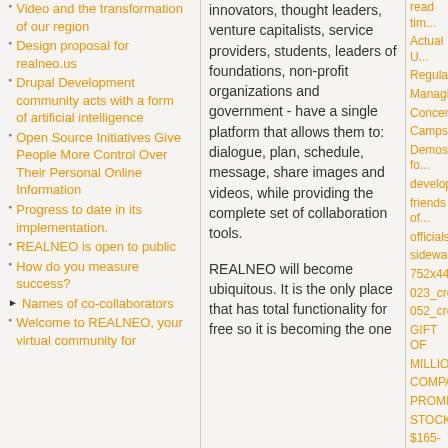Video and the transformation of our region
Design proposal for realneo.us
Drupal Development community acts with a form of artificial intelligence
Open Source Initiatives Give People More Control Over Their Personal Online Information
Progress to date in its implementation.
REALNEO is open to public
How do you measure success?
Names of co-collaborators
Welcome to REALNEO, your virtual community for
innovators, thought leaders, venture capitalists, service providers, students, leaders of foundations, non-profit organizations and government - have a single platform that allows them to: dialogue, plan, schedule, message, share images and videos, while providing the complete set of collaboration tools.
REALNEO will become ubiquitous. It is the only place that has total functionality for free so it is becoming the one
Actual U... Regulation... Managing... Concentra... Camps
Demos fo... developer... friends of... officials)
sidewalk-... 752x440.... 023_crop... 052_crop
GIFT OF MILLION COMPAN... PROMISE... STOCKH... $165-MIL... JOB CUT... elaine_02
All time:
? of the d... are your f... local artis...
? of the D... pollution ... region be...